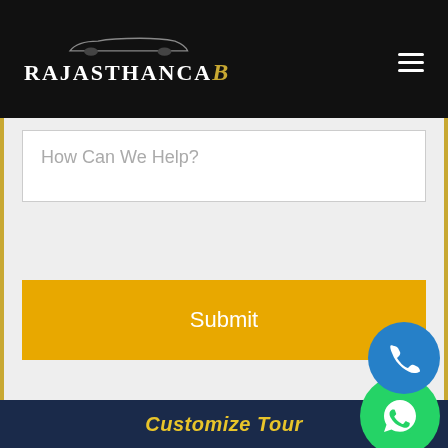RajasthanCaB
[Figure (screenshot): Contact form with 'How Can We Help?' text input field and a yellow Submit button, on a light gray background with gold border]
[Figure (infographic): Blue circular phone call button (bottom right)]
[Figure (infographic): Green circular WhatsApp button (bottom right)]
Udaipur Tour Packages Fro...
Embark on Udaipur Tour Packages from d...nt
Customize Tour